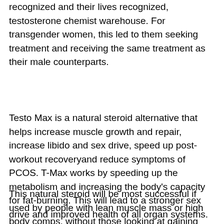recognized and their lives recognized, testosterone chemist warehouse. For transgender women, this led to them seeking treatment and receiving the same treatment as their male counterparts.
Testo Max is a natural steroid alternative that helps increase muscle growth and repair, increase libido and sex drive, speed up post-workout recoveryand reduce symptoms of PCOS. T-Max works by speeding up the metabolism and increasing the body's capacity for fat-burning. This will lead to a stronger sex drive and improved health of all organ systems.
This natural steroid will be most successful if used by people with lean muscle mass or high body comps, without those looking at gaining muscle or weight. Many steroid